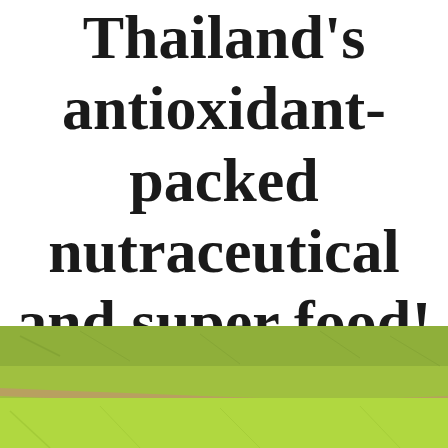Thailand's antioxidant-packed nutraceutical and super food!
Posted by: oilberry
Posted on: 19 February 2020
[Figure (photo): Aerial or ground-level view of green rice paddy fields with a dirt path running through, lush green grass covering the field]